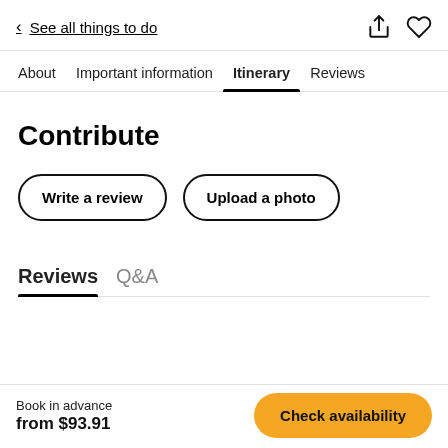< See all things to do
About   Important information   Itinerary   Reviews
Contribute
Write a review
Upload a photo
Reviews   Q&A
Book in advance
from $93.91
Check availability